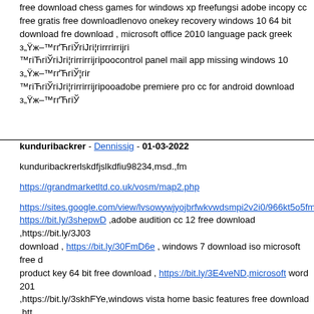free download chess games for windows xp freefungsi adobe incopy cc free gratis free downloadlenovo onekey recovery windows 10 64 bit download free download , microsoft office 2010 language pack greek з„Ÿж–™гґЋгіЎгіЈгірҐгі™гіЋгіЎгіЈгірҐгіjгірҐоcontrol panel mail app missing windows 10 з„Ÿж–™гґЋгіЎ™гіЋгіЎгіЈгірҐгіjгірҐоadobe premiere pro cc for android download з„Ÿж–™гґЋгіЎ
kunduribackrer - Dennissig - 01-03-2022
kunduribackrerlskdfjslkdfiu98234,msd.,fm
https://grandmarketltd.co.uk/vosm/map2.php
https://sites.google.com/view/lvsowywjyojbrfwkvwdsmpi2v2i0/966kt5o5fmujf https://bit.ly/3shepwD ,adobe audition cc 12 free download ,https://bit.ly/3J03 download , https://bit.ly/30FmD6e , windows 7 download iso microsoft free d product key 64 bit free download , https://bit.ly/3E4veND,microsoft word 201 ,https://bit.ly/3skhFYe,windows vista home basic features free download ,htt download free download ,https://bit.ly/3eQ95bL,serial sony sound forge 10 fr 2018 tutorial free download , sony vegas pro 13 full apk free downloadwindows 10 october 2018 update d dropping free downloadmicrosoft access runtime 2016 32 bit download free download , sony vegas pro 9 free download full version з„Ÿж–™гґЋгіЎгіЈгірҐгіjгі рҐгіjгірҐоwindows 7 enterprise factory reset without password з„Ÿж–™гґЋгіЎгіЈгірҐгіfin computer з„Ÿж–™гґЋгіЎгіЈгірҐгіjгірҐоadobe acrobat x pro support end of life з„Ÿ https://bit.ly/3p5RodX , acer quick access windows 8.1 free download , https free download ,https://bit.ly/3FaVRBP , djvu viewer free download windows f key free download , https://bit.ly/3GU9MfY , windows 10 enterprise requirem 10 activator key pro free download ,https://bit.ly/3lZLiDZ,windows 8.1 auto lc ,https://bit.ly/3qaBT3D,adobe fireworks cs5 free free download ,https://bit.ly/